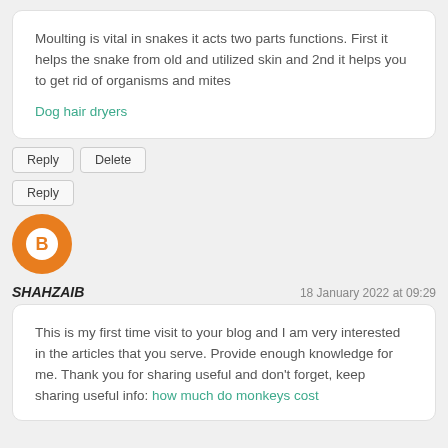Moulting is vital in snakes it acts two parts functions. First it helps the snake from old and utilized skin and 2nd it helps you to get rid of organisms and mites
Dog hair dryers
Reply | Delete
Reply
[Figure (illustration): Blogger default orange avatar icon with white lock/blogger logo]
SHAHZAIB
18 January 2022 at 09:29
This is my first time visit to your blog and I am very interested in the articles that you serve. Provide enough knowledge for me. Thank you for sharing useful and don't forget, keep sharing useful info: how much do monkeys cost